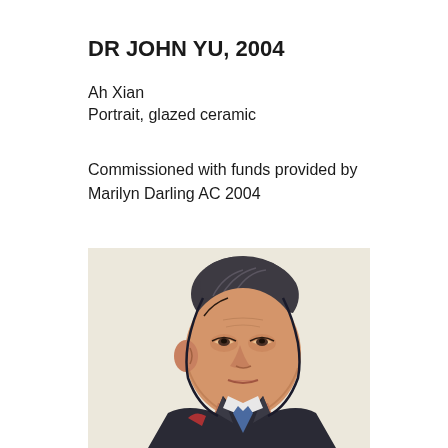DR JOHN YU, 2004
Ah Xian
Portrait, glazed ceramic
Commissioned with funds provided by Marilyn Darling AC 2004
[Figure (illustration): Glazed ceramic portrait of Dr John Yu — a caricature-style illustration showing a man in a dark jacket with a blue tie, viewed from a slight angle, rendered in warm skin tones with sketchy dark outlines.]